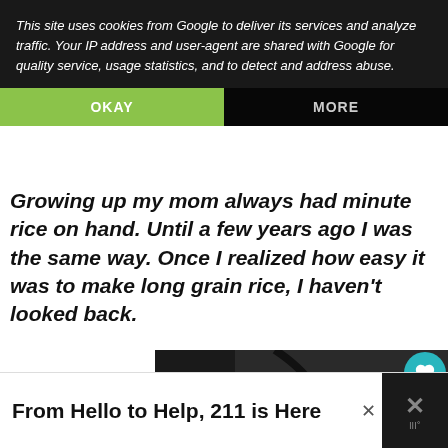Growing up my mom always had minute rice on hand. Until a few years ago I was the same way. Once I realized how easy it was to make long grain rice, I haven't looked back.
This site uses cookies from Google to deliver its services and analyze traffic. Your IP address and user-agent are shared with Google for quality service, usage statistics, and to detect and address abuse.
OKAY
MORE
[Figure (photo): A white colander or strainer bowl filled with colorful mixed vegetables including broccoli, carrots, tomatoes, and other vegetables, placed on a dark surface.]
1
WHAT'S NEXT → Butter Crumble Ap...
From Hello to Help, 211 is Here